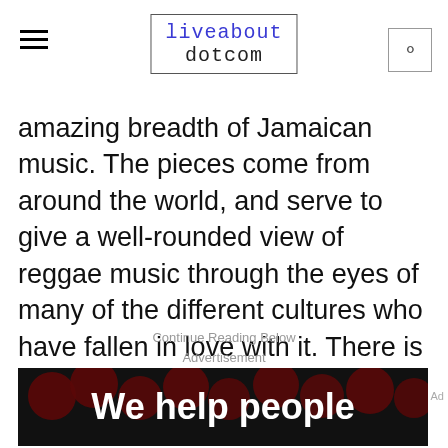liveabout dotcom
amazing breadth of Jamaican music. The pieces come from around the world, and serve to give a well-rounded view of reggae music through the eyes of many of the different cultures who have fallen in love with it. There is also a lot of vital historical information in here, so for people who prefer short stories over novels, so to speak, this is an ideal book.
Continue Reading Below
Advertisement
[Figure (screenshot): Advertisement banner showing 'We help people' text in white on dark background with red dots pattern, and bottom bar with 'We help people find answers, solve problems and get inspired.' text with Dotdash Meredith logo]